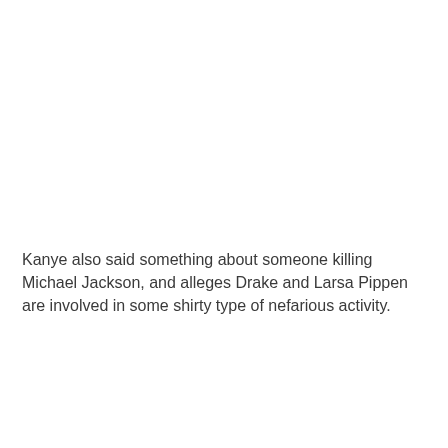Kanye also said something about someone killing Michael Jackson, and alleges Drake and Larsa Pippen are involved in some shirty type of nefarious activity.